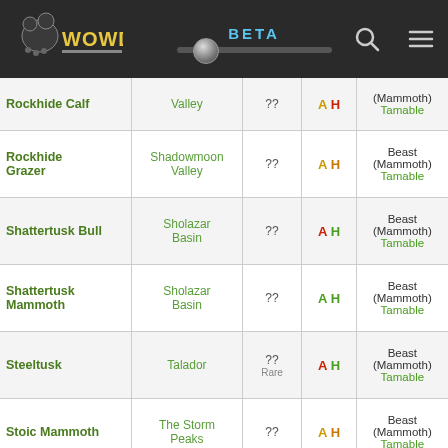WOWDB BETA
| Name | Zone | Level | Faction | Type |
| --- | --- | --- | --- | --- |
| Rockhide Calf | Valley | ?? | A H | Beast (Mammoth) Tamable |
| Rockhide Grazer | Shadowmoon Valley | ?? | A H | Beast (Mammoth) Tamable |
| Shattertusk Bull | Sholazar Basin | ?? | A H | Beast (Mammoth) Tamable |
| Shattertusk Mammoth | Sholazar Basin | ?? | A H | Beast (Mammoth) Tamable |
| Steeltusk | Talador | ?? Rare | A H | Beast (Mammoth) Tamable |
| Stoic Mammoth | The Storm Peaks | ?? | A H | Beast (Mammoth) Tamable |
| Tenderhoof Meadowstomper | Nagrand | ?? | A H | Beast (Mammoth) Tamable |
| Territorial |  |  |  | Beast |